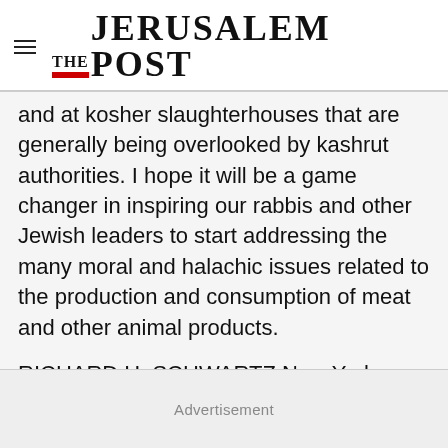THE JERUSALEM POST
and at kosher slaughterhouses that are generally being overlooked by kashrut authorities. I hope it will be a game changer in inspiring our rabbis and other Jewish leaders to start addressing the many moral and halachic issues related to the production and consumption of meat and other animal products.
RICHARD H. SCHWARTZ New York
Advertisement